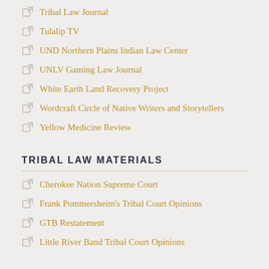Tribal Law Journal
Tulalip TV
UND Northern Plains Indian Law Center
UNLV Gaming Law Journal
White Earth Land Recovery Project
Wordcraft Circle of Native Writers and Storytellers
Yellow Medicine Review
TRIBAL LAW MATERIALS
Cherokee Nation Supreme Court
Frank Pommersheim's Tribal Court Opinions
GTB Restatement
Little River Band Tribal Court Opinions